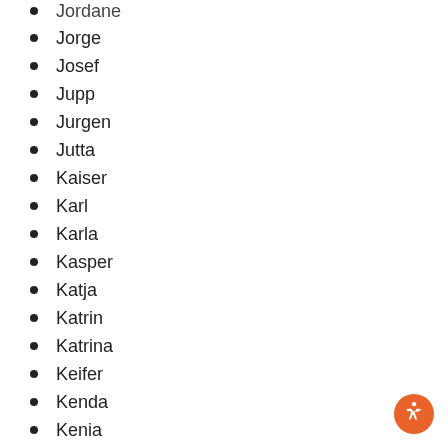Jordane
Jorge
Josef
Jupp
Jurgen
Jutta
Kaiser
Karl
Karla
Kasper
Katja
Katrin
Katrina
Keifer
Kenda
Kenia
Kirsten
Klaus